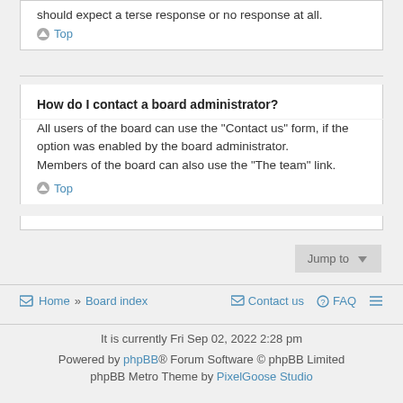should expect a terse response or no response at all.
Top
How do I contact a board administrator?
All users of the board can use the “Contact us” form, if the option was enabled by the board administrator.
Members of the board can also use the “The team” link.
Top
Jump to
Home » Board index   Contact us   FAQ
It is currently Fri Sep 02, 2022 2:28 pm
Powered by phpBB® Forum Software © phpBB Limited
phpBB Metro Theme by PixelGoose Studio